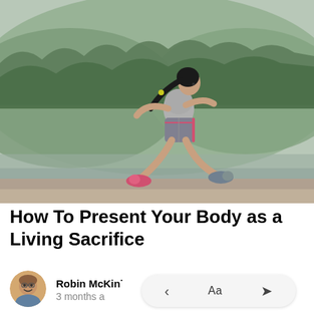[Figure (photo): A young woman with dark hair in a ponytail wearing a gray sports bra and gray/pink shorts with pink and gray running shoes, running outdoors near a body of water with green forested hills in the background.]
How To Present Your Body as a Living Sacrifice
Robin McKin·
3 months a